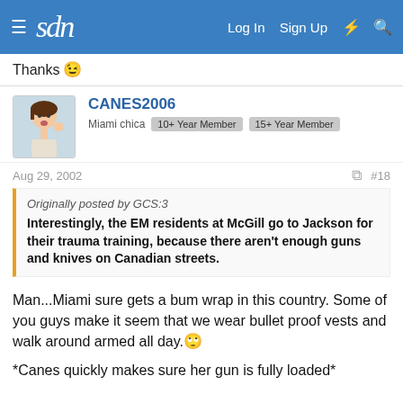sdn  Log In  Sign Up
Thanks 😉
CANES2006
Miami chica  10+ Year Member  15+ Year Member
Aug 29, 2002  #18
Originally posted by GCS:3
Interestingly, the EM residents at McGill go to Jackson for their trauma training, because there aren't enough guns and knives on Canadian streets.
Man...Miami sure gets a bum wrap in this country. Some of you guys make it seem that we wear bullet proof vests and walk around armed all day.🙄
*Canes quickly makes sure her gun is fully loaded*